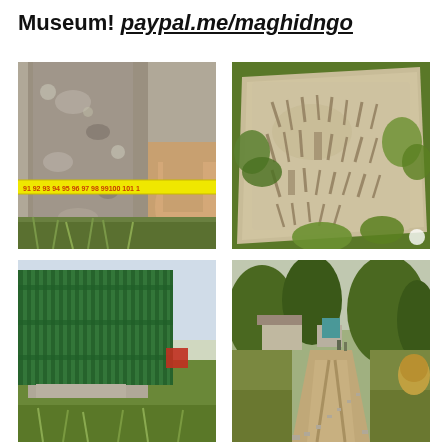Museum! paypal.me/maghidngo
[Figure (photo): Close-up of a stone column or pillar being measured with a yellow measuring tape, hand visible holding the tape at approximately 100cm mark, green vegetation at the base]
[Figure (photo): Ancient stone block or slab with carved inscription markings lying among green plants and vegetation]
[Figure (photo): Green metal fence or gate with a stone foundation block on grass]
[Figure (photo): Rural dirt road or path with buildings and trees in the background, extending into the distance]